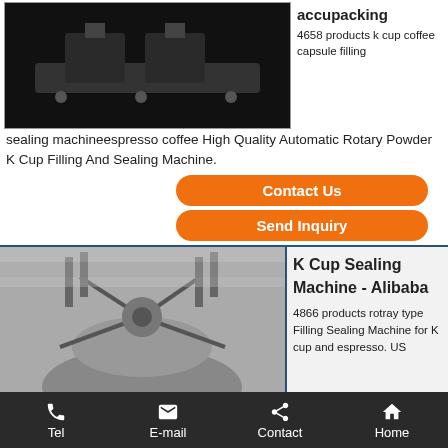[Figure (photo): Industrial filling and sealing machine, top view, black background]
accupacking
4658 products k cup coffee capsule filling sealing machineespresso coffee High Quality Automatic Rotary Powder K Cup Filling And Sealing Machine.
Contact Us
Send Inquiry
[Figure (photo): Black and white close-up photo of a rotary type K cup filling and sealing machine]
K Cup Sealing Machine - Alibaba
4866 products rotray type Filling Sealing Machine for K cup and espresso. US
Tel  E-mail  Contact  Home